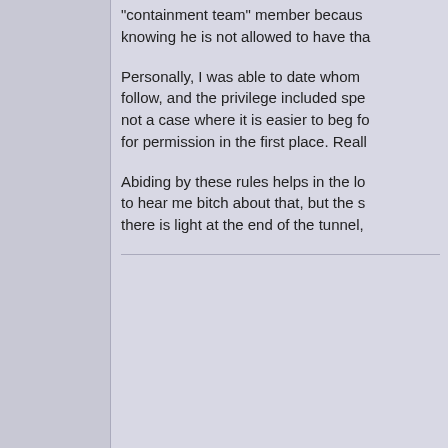"containment team" member because knowing he is not allowed to have tha

Personally, I was able to date whome follow, and the privilege included spe not a case where it is easier to beg fo for permission in the first place. Reall

Abiding by these rules helps in the lo to hear me bitch about that, but the s there is light at the end of the tunnel,
OkieBoy
User
Offline
Posts: 46
Joined: Apr 27th, 2003
Re: Question for George
Reply #9 - Sep 8th, 2003 at 10:41pm

Just be glad you don't live in Washing Sex-Offenders there, who are in trea are considering dating into the progra conference with the therapist before t